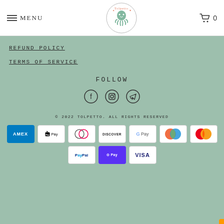Menu | Tolpetto logo | Cart 0
REFUND POLICY
TERMS OF SERVICE
FOLLOW
[Figure (infographic): Social media icons: Facebook, Instagram, Telegram]
© 2022 TOLPETTO. ALL RIGHTS RESERVED
[Figure (infographic): Payment method icons: Amex, Apple Pay, Diners Club, Discover, Google Pay, Maestro, Mastercard, PayPal, Shop Pay, Visa]